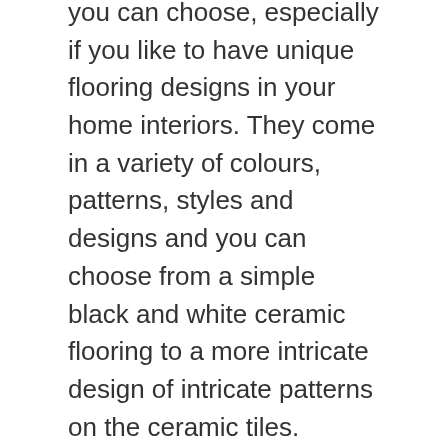you can choose, especially if you like to have unique flooring designs in your home interiors. They come in a variety of colours, patterns, styles and designs and you can choose from a simple black and white ceramic flooring to a more intricate design of intricate patterns on the ceramic tiles.
Another type of flooring that you can use in your home interiors is the ceramic tile and laminate flooring. The ceramic tile is made up of porcelain tiles which are glued together and then covered with the thin layer of wood glue or rubber cement. This gives the tiles a unique look which is also a major factor when it comes to choosing ceramic flooring designs.
Other flooring designs that you can go for are vinyl flooring and laminate flooring. The laminate flooring is not only durable but also very easy to maintain because you just need to wipe it with a soft cloth once in a while.